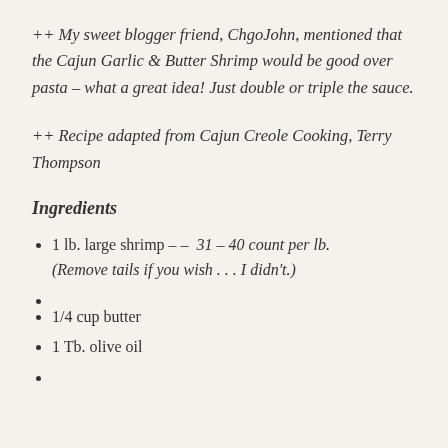++ My sweet blogger friend, ChgoJohn, mentioned that the Cajun Garlic & Butter Shrimp would be good over pasta – what a great idea! Just double or triple the sauce.
++ Recipe adapted from Cajun Creole Cooking, Terry Thompson
Ingredients
1 lb. large shrimp – – 31 – 40 count per lb. (Remove tails if you wish . . . I didn't.)
1/4 cup butter
1 Tb. olive oil